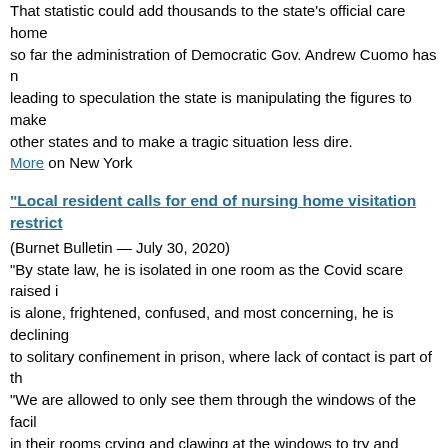That statistic could add thousands to the state's official care home so far the administration of Democratic Gov. Andrew Cuomo has n leading to speculation the state is manipulating the figures to make other states and to make a tragic situation less dire. More on New York
"Local resident calls for end of nursing home visitation restrict
(Burnet Bulletin — July 30, 2020)
"By state law, he is isolated in one room as the Covid scare raised i is alone, frightened, confused, and most concerning, he is declining to solitary confinement in prison, where lack of contact is part of th "We are allowed to only see them through the windows of the facil in their rooms crying and clawing at the windows to try and touch a we doing? Are we trying to protect them from dying of the virus, o loneliness, fear and panic better?"
More on Loneliness
More on Texas
"Elder advocates ask why Gov. Newsom flooded nursing homes patients"
(Southern California Record — July 16, 2020)
"[A] peace and justice advocate is organizing grassroots efforts to h accountable for the 2,804 nursing home residents who have since d